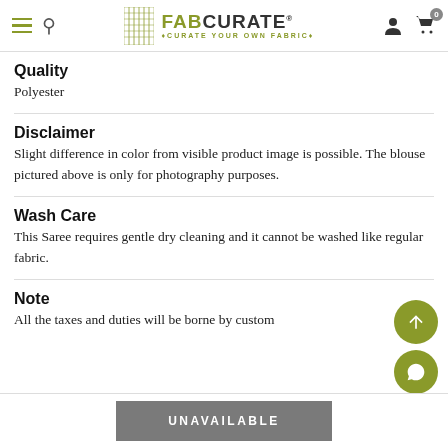FabCurate - Curate Your Own Fabric
Quality
Polyester
Disclaimer
Slight difference in color from visible product image is possible. The blouse pictured above is only for photography purposes.
Wash Care
This Saree requires gentle dry cleaning and it cannot be washed like regular fabric.
Note
All the taxes and duties will be borne by customer.